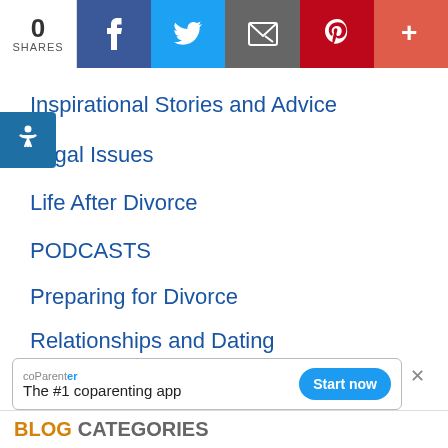0 SHARES | Facebook | Twitter | Email | Pinterest | More
Inspirational Stories and Advice
Legal Issues
Life After Divorce
PODCASTS
Preparing for Divorce
Relationships and Dating
Remarriage
Step-families
Video Blogs
Your Home and Divorce
coParenter — The #1 coparenting app — Start now
BLOG CATEGORIES